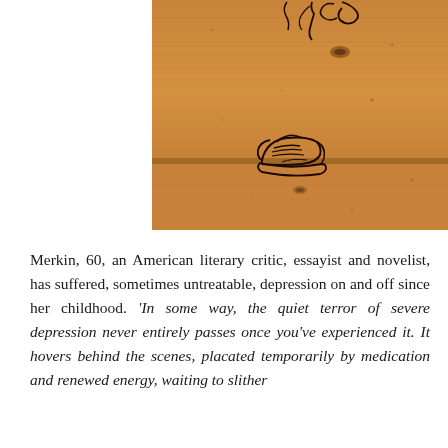[Figure (photo): Close-up photo of a wooden floor or surface (pine planks with wood grain, knots, and natural markings). There is a black hand-drawn or graffiti-style illustration on the wood showing what appears to be a sneaker/shoe at the bottom and a figure or chain at the top.]
Merkin, 60, an American literary critic, essayist and novelist, has suffered, sometimes untreatable, depression on and off since her childhood. 'In some way, the quiet terror of severe depression never entirely passes once you've experienced it. It hovers behind the scenes, placated temporarily by medication and renewed energy, waiting to slither